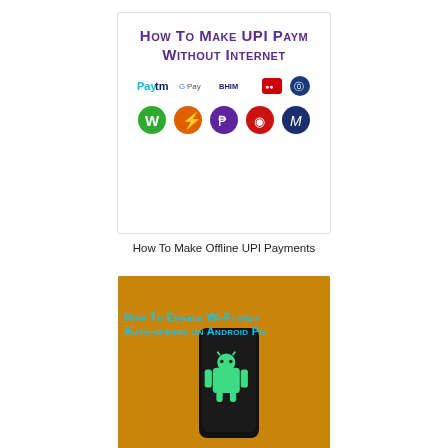[Figure (illustration): Thumbnail image showing 'How To Make UPI Payment Without Internet' text in purple/small-caps style with payment app logos including Paytm, Google Pay, BHIM, and others]
How To Make Offline UPI Payments
[Figure (illustration): Thumbnail image showing a hand holding a smartphone with Android logo on an orange background, with text 'How To Enable Wi-Fi only Auto-update on Android Phone']
How To Enable Wi-Fi only Auto-update on Android Phone